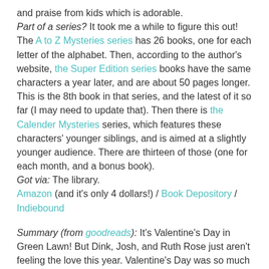and praise from kids which is adorable. Part of a series? It took me a while to figure this out! The A to Z Mysteries series has 26 books, one for each letter of the alphabet. Then, according to the author's website, the Super Edition series books have the same characters a year later, and are about 50 pages longer. This is the 8th book in that series, and the latest of it so far (I may need to update that). Then there is the Calender Mysteries series, which features these characters' younger siblings, and is aimed at a slightly younger audience. There are thirteen of those (one for each month, and a bonus book). Got via: The library. Amazon (and it's only 4 dollars!) / Book Depository / Indiebound
Summary (from goodreads): It's Valentine's Day in Green Lawn! But Dink, Josh, and Ruth Rose just aren't feeling the love this year. Valentine's Day was so much more fun when they were little. Then they each start getting messages and clues from a secret admirer! Can the kids figure out who wants to be their Valentine?